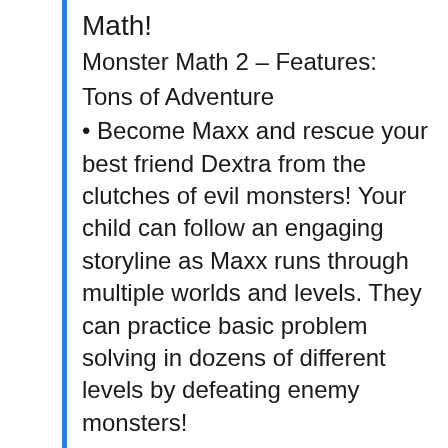Math!
Monster Math 2 – Features:
Tons of Adventure
• Become Maxx and rescue your best friend Dextra from the clutches of evil monsters! Your child can follow an engaging storyline as Maxx runs through multiple worlds and levels. They can practice basic problem solving in dozens of different levels by defeating enemy monsters!
Learn and Practice Arithmetic
• Monster Math 2 is better than homework, and it's the perfect math trainer for your child. Practice addition, subtraction,